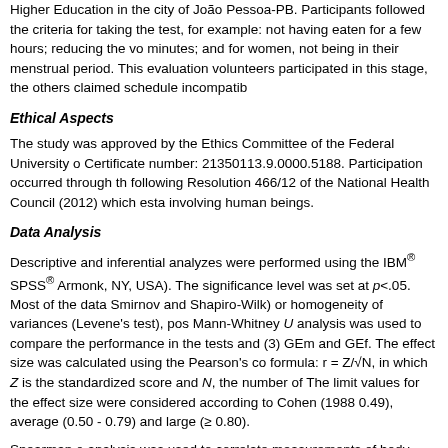Higher Education in the city of João Pessoa-PB. Participants followed the criteria for taking the test, for example: not having eaten for a few hours; reducing the volume for 15 minutes; and for women, not being in their menstrual period. This evaluation volunteers participated in this stage, the others claimed schedule incompatib
Ethical Aspects
The study was approved by the Ethics Committee of the Federal University o Certificate number: 21350113.9.0000.5188. Participation occurred through th following Resolution 466/12 of the National Health Council (2012) which esta involving human beings.
Data Analysis
Descriptive and inferential analyzes were performed using the IBM® SPSS® Armonk, NY, USA). The significance level was set at p<.05. Most of the data Smirnov and Shapiro-Wilk) or homogeneity of variances (Levene's test), pos Mann-Whitney U analysis was used to compare the performance in the tests and (3) GEm and GEf. The effect size was calculated using the Pearson's co formula: r = Z/√N, in which Z is the standardized score and N, the number of The limit values for the effect size were considered according to Cohen (1988 0.49), average (0.50 - 0.79) and large (≥ 0.80).
Spearman ρ analysis was used to correlate measurements of body composit visceral fat, body water) with the results obtained in the neurocognitive tests obtained in the neurocognitive tests for the data analysis were considered.
Results